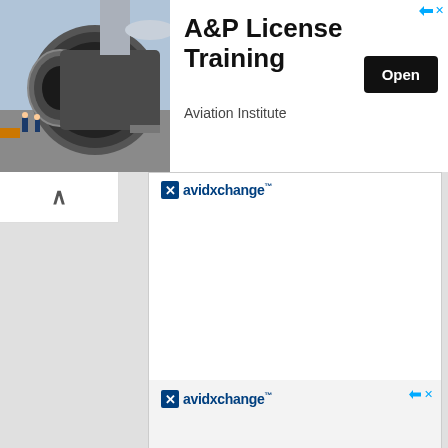[Figure (photo): Airplane jet engine with workers visible, blue sky background]
A&P License Training
Aviation Institute
Open
[Figure (logo): AvidXchange logo - blue square icon with X and text avidxchange]
Sponsored by ap.avidxchange.com
Open
[Figure (logo): AvidXchange logo - blue square icon with X and text avidxchange (second ad)]